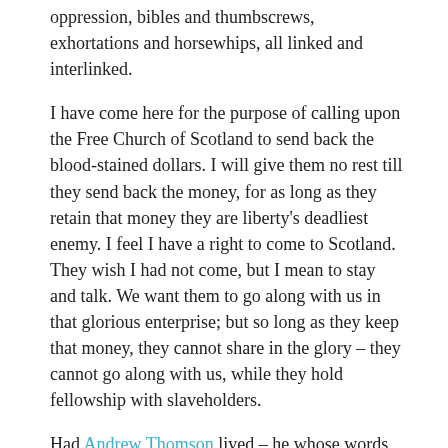oppression, bibles and thumbscrews, exhortations and horsewhips, all linked and interlinked.
I have come here for the purpose of calling upon the Free Church of Scotland to send back the blood-stained dollars. I will give them no rest till they send back the money, for as long as they retain that money they are liberty's deadliest enemy. I feel I have a right to come to Scotland. They wish I had not come, but I mean to stay and talk. We want them to go along with us in that glorious enterprise; but so long as they keep that money, they cannot share in the glory – they cannot go along with us, while they hold fellowship with slaveholders.
Had Andrew Thomson lived – he whose words burst asunder the chains of the Indian bondsmen – he would have shattered the connexion into a thousand fragments. If they would return that money, it would turn the religious tide against slavery. It is already being hemmed in by a broad and mighty force; and they are whispering to themselves that nobody in our old country has any regard for us but the Free Church, and we sometimes think she does not care so much for us as for our